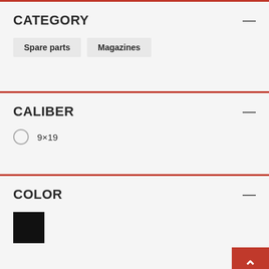CATEGORY
Spare parts
Magazines
CALIBER
9×19
COLOR